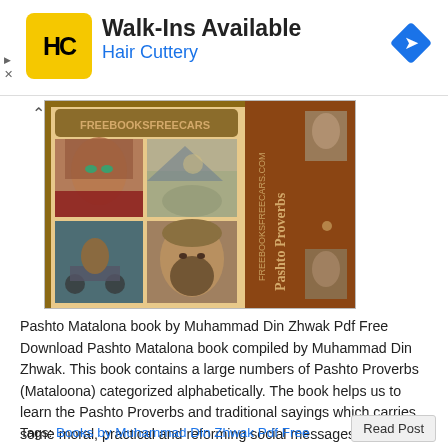[Figure (advertisement): Hair Cuttery advertisement banner with yellow HC logo, Walk-Ins Available text, Hair Cuttery subtitle, and a blue diamond direction arrow icon on the right]
[Figure (photo): Book cover of Pashto Matalona by Muhammad Din Zhwak showing Afghan people portraits on the cover and spine text reading 'Pashto Proverbs']
Pashto Matalona book by Muhammad Din Zhwak Pdf Free Download Pashto Matalona book compiled by Muhammad Din Zhwak. This book contains a large numbers of Pashto Proverbs (Mataloona) categorized alphabetically. The book helps us to learn the Pashto Proverbs and traditional sayings which carries some moral, practical and reforming social messages. This book is a [...]
Tags: Books by Muhammad Din Zhwak Pdf Free
Read Post